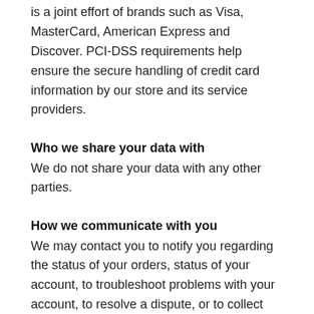is a joint effort of brands such as Visa, MasterCard, American Express and Discover. PCI-DSS requirements help ensure the secure handling of credit card information by our store and its service providers.
Who we share your data with
We do not share your data with any other parties.
How we communicate with you
We may contact you to notify you regarding the status of your orders, status of your account, to troubleshoot problems with your account, to resolve a dispute, or to collect monies owed. For these